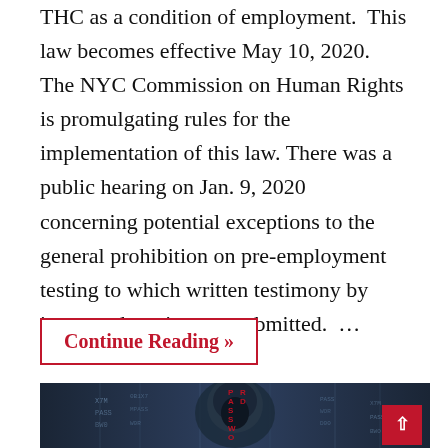THC as a condition of employment.  This law becomes effective May 10, 2020.  The NYC Commission on Human Rights is promulgating rules for the implementation of this law. There was a public hearing on Jan. 9, 2020 concerning potential exceptions to the general prohibition on pre-employment testing to which written testimony by interested parties was submitted.  …
Continue Reading »
[Figure (photo): Dark atmospheric image of a hooded hacker figure with 'PASSWORD' text overlaid in red vertical text, surrounded by falling code/data streams on a blue-grey background.]